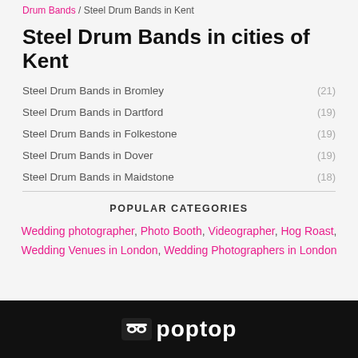Drum Bands / Steel Drum Bands in Kent
Steel Drum Bands in cities of Kent
Steel Drum Bands in Bromley (21)
Steel Drum Bands in Dartford (19)
Steel Drum Bands in Folkestone (19)
Steel Drum Bands in Dover (19)
Steel Drum Bands in Maidstone (18)
POPULAR CATEGORIES
Wedding photographer, Photo Booth, Videographer, Hog Roast, Wedding Venues in London, Wedding Photographers in London
poptop